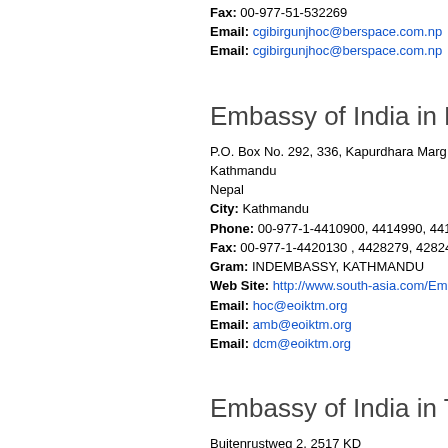Fax: 00-977-51-532269
Email: cgibirgunjhoc@berspace.com.np
Email: cgibirgunjhoc@berspace.com.np
Embassy of India in Kathmandu
P.O. Box No. 292, 336, Kapurdhara Marg
Kathmandu
Nepal
City: Kathmandu
Phone: 00-977-1-4410900, 4414990, 4411699
Fax: 00-977-1-4420130 , 4428279, 428245
Gram: INDEMBASSY, KATHMANDU
Web Site: http://www.south-asia.com/Embassy-
Email: hoc@eoiktm.org
Email: amb@eoiktm.org
Email: dcm@eoiktm.org
Embassy of India in The Hague
Buitenrustweg 2, 2517 KD
The Hague,
Netherlands
City: The Hague